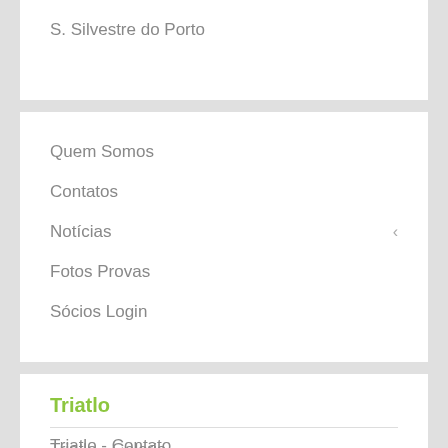S. Silvestre do Porto
Quem Somos
Contatos
Notícias
Fotos Provas
Sócios Login
Triatlo
Secção de Triatlo
Triatlo - Contato
Triatlo - Provas
Triatlo - Galeria